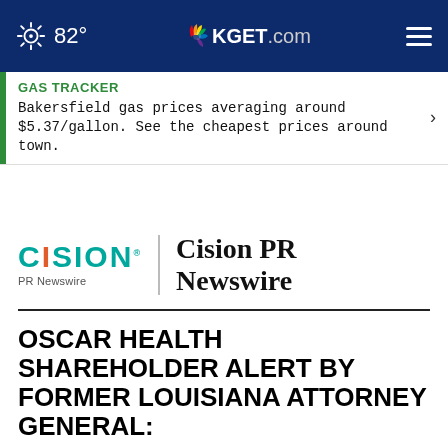82° KGET.com
GAS TRACKER
Bakersfield gas prices averaging around $5.37/gallon. See the cheapest prices around town.
[Figure (logo): Cision PR Newswire logo with teal and orange CISION text and 'PR Newswire' subtitle, separated by vertical bar from bold 'Cision PR Newswire' text]
OSCAR HEALTH SHAREHOLDER ALERT BY FORMER LOUISIANA ATTORNEY GENERAL: